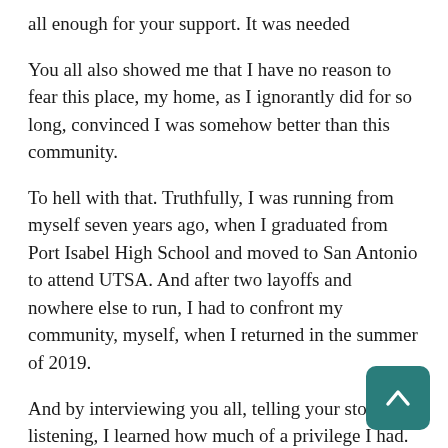all enough for your support. It was needed
You all also showed me that I have no reason to fear this place, my home, as I ignorantly did for so long, convinced I was somehow better than this community.
To hell with that. Truthfully, I was running from myself seven years ago, when I graduated from Port Isabel High School and moved to San Antonio to attend UTSA. And after two layoffs and nowhere else to run, I had to confront my community, myself, when I returned in the summer of 2019.
And by interviewing you all, telling your stories, listening, I learned how much of a privilege I had. Christ, I write for a living: how many people can say that at 25-years-old? I thank you all, the working class community of the Laguna Madre, for showing me your lives and grounding me to my ow
That being said, this job is a lot. And some of you have